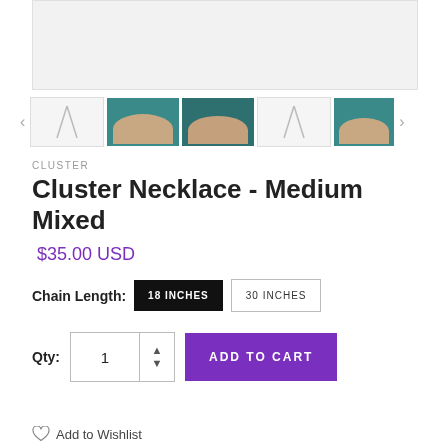[Figure (photo): Main product image area showing necklace (light gray placeholder)]
[Figure (photo): Thumbnail strip with navigation arrows and 5 product thumbnails — alternating outline sketches and teal lifestyle photos]
CLUSTER
Cluster Necklace - Medium Mixed
$35.00 USD
Chain Length: 18 INCHES  30 INCHES
Qty: 1  ADD TO CART
Add to Wishlist